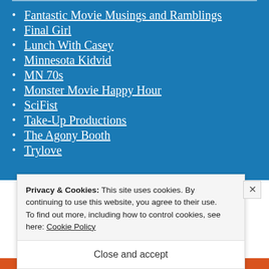Fantastic Movie Musings and Ramblings
Final Girl
Lunch With Casey
Minnesota Kidvid
MN 70s
Monster Movie Happy Hour
SciFist
Take-Up Productions
The Agony Booth
Trylove
Privacy & Cookies: This site uses cookies. By continuing to use this website, you agree to their use. To find out more, including how to control cookies, see here: Cookie Policy
Close and accept